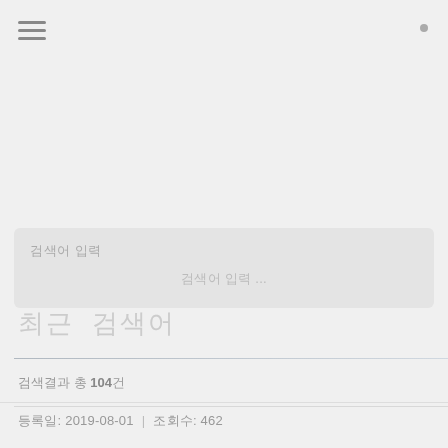≡  •
검색어 입력
검색어 입력 ...
최근 검색어
검색결과 총 104건
등록일: 2019-08-01  |  조회수: 462